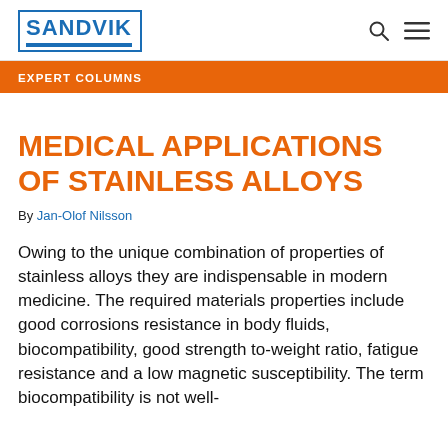SANDVIK
EXPERT COLUMNS
MEDICAL APPLICATIONS OF STAINLESS ALLOYS
By Jan-Olof Nilsson
Owing to the unique combination of properties of stainless alloys they are indispensable in modern medicine. The required materials properties include good corrosions resistance in body fluids, biocompatibility, good strength to-weight ratio, fatigue resistance and a low magnetic susceptibility. The term biocompatibility is not well-